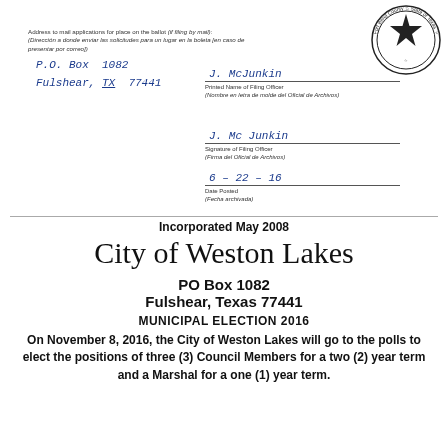Address to mail applications for place on the ballot (if filing by mail): / (Dirección a donde enviar las solicitudes para un lugar en la boleta [en caso de presentar por correo])
P.O. Box 1082
Fulshear, TX 77441
[Figure (logo): Fort Bend County State of Texas circular seal with star]
J. McJunkin
Printed Name of Filing Officer
(Nombre en letra de molde del Oficial de Archivos)
[Signature] J. Mc Junkin
Signature of Filing Officer
(Firma del Oficial de Archivos)
6-22-16
Date Posted
(Fecha archivada)
Incorporated May 2008
City of Weston Lakes
PO Box 1082
Fulshear, Texas 77441
MUNICIPAL ELECTION 2016
On November 8, 2016, the City of Weston Lakes will go to the polls to elect the positions of three (3) Council Members for a two (2) year term and a Marshal for a one (1) year term.